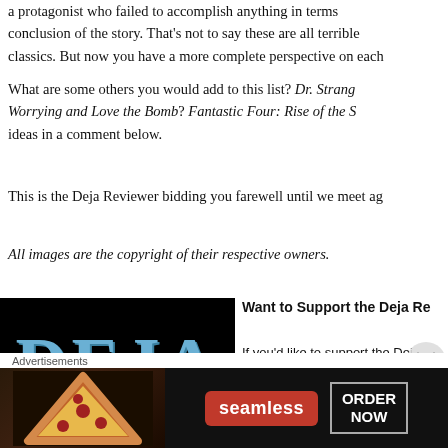a protagonist who failed to accomplish anything in terms conclusion of the story. That's not to say these are all terrible classics. But now you have a more complete perspective on each
What are some others you would add to this list? Dr. Strangelove (or: How I Stopped Worrying and Love the Bomb)? Fantastic Four: Rise of the Silver Surfer? Share your ideas in a comment below.
This is the Deja Reviewer bidding you farewell until we meet again.
All images are the copyright of their respective owners.
[Figure (logo): Deja Reviewer logo — black background with large blue 'DEJA' text]
Want to Support the Deja Reviewer
If you'd like to support the Deja
Advertisements
[Figure (infographic): Seamless food delivery advertisement with pizza image, red Seamless badge, and ORDER NOW button]